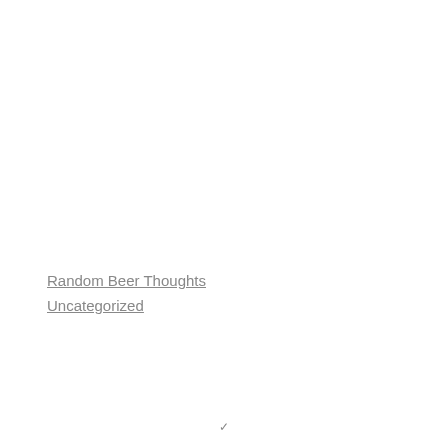Random Beer Thoughts
Uncategorized